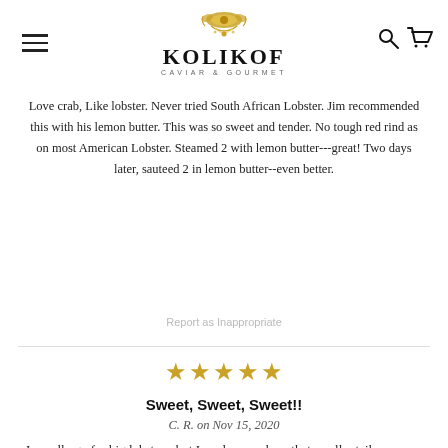KOLIKOF CAVIAR & GOURMET
Love crab, Like lobster. Never tried South African Lobster. Jim recommended this with his lemon butter. This was so sweet and tender. No tough red rind as on most American Lobster. Steamed 2 with lemon butter---great! Two days later, sauteed 2 in lemon butter--even better.
Report as Inappropriate
[Figure (other): Five gold stars rating]
Sweet, Sweet, Sweet!!
C. R. on Nov 15, 2020
I usually go for big lobsters, but I read somewhere that smaller tails